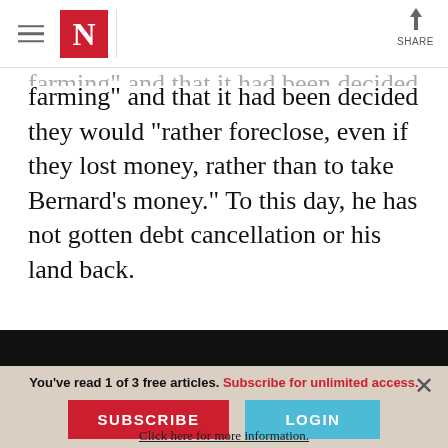The Nation — N logo, hamburger menu, SHARE button
farming” and that it had been decided they would “rather foreclose, even if they lost money, rather than to take Bernard’s money.” To this day, he has not gotten debt cancellation or his land back.

Attorney Tracy McCurty, the director of the
You’ve read 1 of 3 free articles. Subscribe for unlimited access.
SUBSCRIBE
LOGIN
Click here for more information.